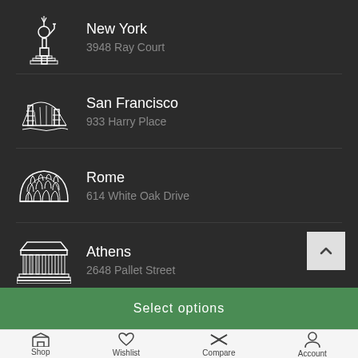New York — 3948 Ray Court
San Francisco — 933 Harry Place
Rome — 614 White Oak Drive
Athens — 2648 Pallet Street
Select options
Shop | Wishlist | Compare | Account